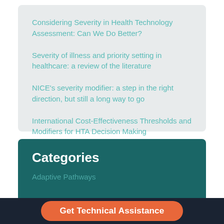Considering Severity in Health Technology Assessment: Can We Do Better?
Severity of illness and priority setting in healthcare: a review of the literature
NICE's severity modifier: a step in the right direction, but still a long way to go
International Cost-Effectiveness Thresholds and Modifiers for HTA Decision Making
Ethical and Economic Issues in the Appraisal of Medicines for Ultra-Rare Conditions
Categories
Adaptive Pathways
Get Technical Assistance